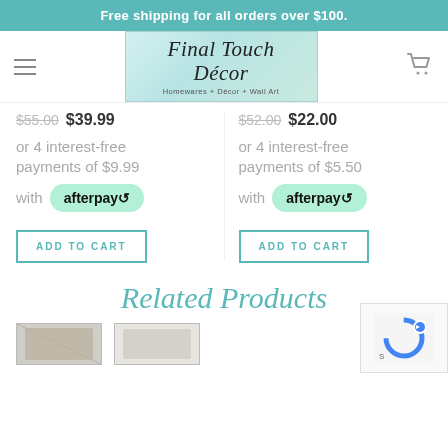Free shipping for all orders over $100.
[Figure (logo): Final Touch Décor logo with script text and tagline Homewares + Décor + Wall Art]
$55.00 $39.99
$52.00 $22.00
or 4 interest-free payments of $9.99
or 4 interest-free payments of $5.50
with afterpay
with afterpay
ADD TO CART
ADD TO CART
Related Products
[Figure (photo): Product thumbnail image 1]
[Figure (photo): Product thumbnail image 2]